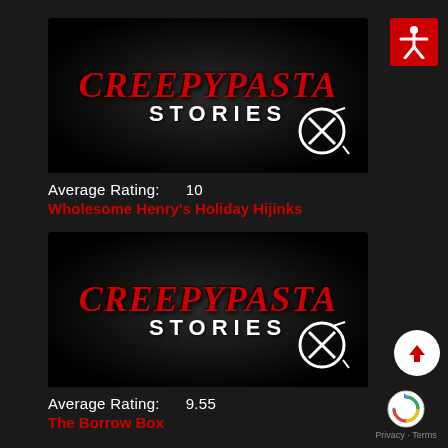[Figure (screenshot): Creepypasta Stories logo thumbnail - dark background with red dripping 'CREEPYPASTA' text and white 'STORIES' text with anarchist symbol]
Average Rating:   10
Wholesome Henry's Holiday Hijinks
[Figure (screenshot): Creepypasta Stories logo thumbnail - dark background with red dripping 'CREEPYPASTA' text and white 'STORIES' text with anarchist symbol]
Average Rating:   9.55
The Borrow Box
[Figure (other): Red accessibility icon (human figure with arms spread) on red background square]
[Figure (other): White circular scroll-up button with red upward arrow]
[Figure (other): Google reCAPTCHA icon with 'Privacy · Terms' text below]